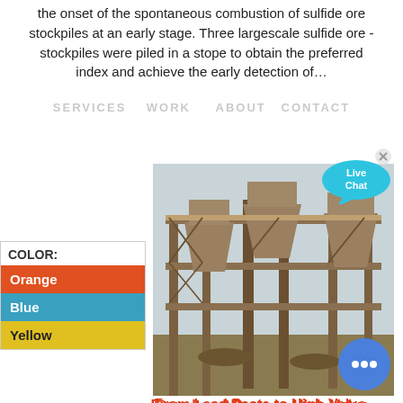the onset of the spontaneous combustion of sulfide ore stockpiles at an early stage. Three largescale sulfide ore - stockpiles were piled in a stope to obtain the preferred index and achieve the early detection of...
SERVICES   WORK   ABOUT   CONTACT
[Figure (photo): Large industrial mining/processing facility structure with multi-level steel framework and hopper equipment, weathered orange-brown metal, photographed outdoors.]
| COLOR: |
| --- |
| Orange |
| Blue |
| Yellow |
From Lead Paste to High-Value Nanolead Sulfide Products ...
[Figure (other): Live Chat button bubble in cyan/teal color with x close button]
[Figure (other): Blue circular chat button with three dots]